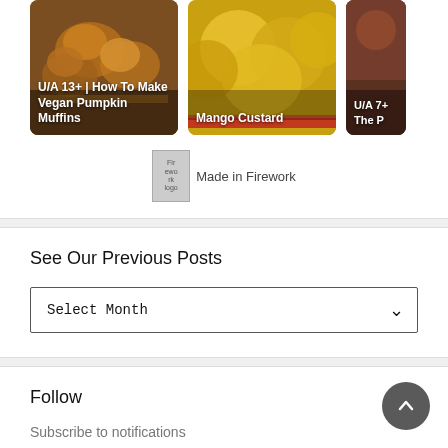[Figure (photo): Thumbnail card showing vegan pumpkin muffins with text overlay 'U/A 13+ | How To Make Vegan Pumpkin Muffins']
[Figure (photo): Thumbnail card showing mangoes with text overlay 'Mango Custard']
[Figure (photo): Partially visible thumbnail card with text overlay 'U/A 7+ The P...']
[Figure (logo): Firework logo image (broken image placeholder) with text 'Made in Firework']
See Our Previous Posts
Select Month
Follow
Subscribe to notifications